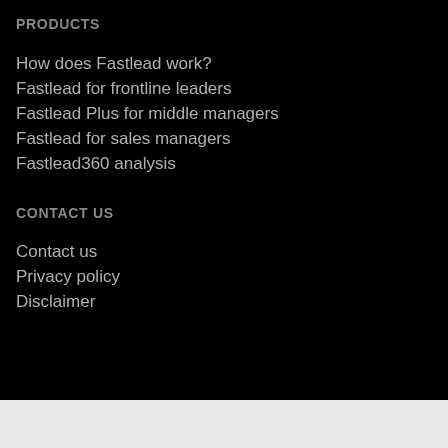PRODUCTS
How does Fastlead work?
Fastlead for frontline leaders
Fastlead Plus for middle managers
Fastlead for sales managers
Fastlead360 analysis
CONTACT US
Contact us
Privacy policy
Disclaimer